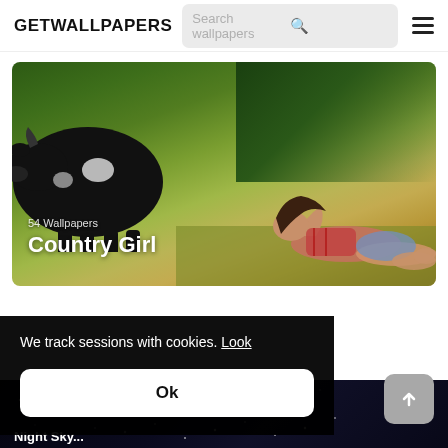GETWALLPAPERS
Search wallpapers
54 Wallpapers
Country Girl
[Figure (photo): Outdoor photo of a young woman posing on grass beside a black cow in a field with green and golden grass background]
We track sessions with cookies. Look
Ok
[Figure (screenshot): Partial thumbnail of next wallpaper section labeled Night Sky or similar, dark background with stars]